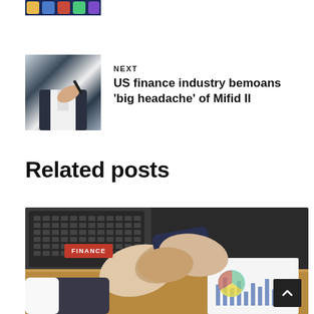[Figure (photo): Partial view of a phone/app screen showing colorful icons, at top of page]
NEXT
[Figure (photo): Person in business attire writing or signing a document with a pen]
US finance industry bemoans 'big headache' of Mifid II
Related posts
[Figure (photo): Two businesspeople shaking hands over a desk with a laptop and financial charts visible in the background. A red FINANCE badge is overlaid in the lower left.]